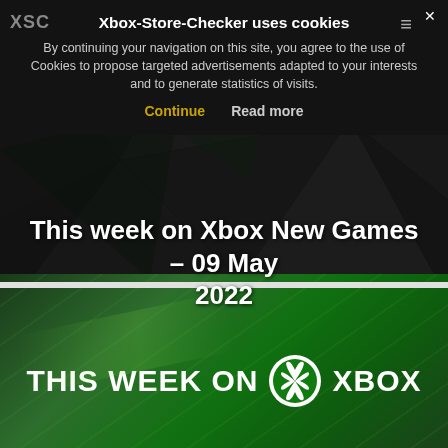XSC
Xbox-Store-Checker uses cookies
By continuing your navigation on this site, you agree to the use of Cookies to propose targeted advertisements adapted to your interests and to generate statistics of visits.
Continue    Read more
This week on Xbox New Games – 09 May 2022
[Figure (photo): Dark geometric triangular polygon background in dark green/black tones with a white banner showing 'THIS WEEK ON XBOX' with Xbox circle logo on a green streaked background]